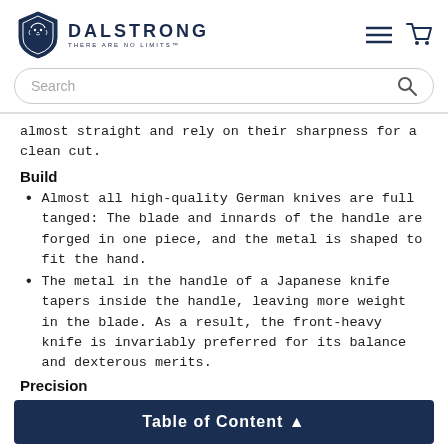DALSTRONG THERE ARE NO LIMITS
almost straight and rely on their sharpness for a clean cut.
Build
Almost all high-quality German knives are full tanged: The blade and innards of the handle are forged in one piece, and the metal is shaped to fit the hand.
The metal in the handle of a Japanese knife tapers inside the handle, leaving more weight in the blade. As a result, the front-heavy knife is invariably preferred for its balance and dexterous merits.
Precision
Table of Content ▲